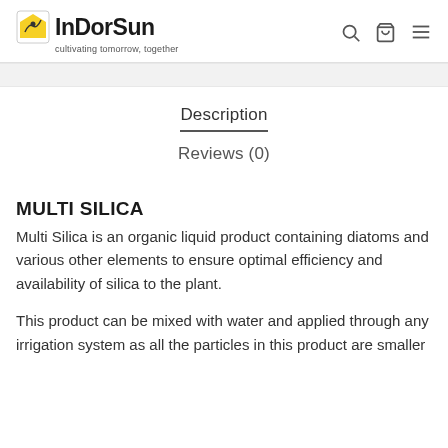InDorSun — cultivating tomorrow, together
Description
Reviews (0)
MULTI SILICA
Multi Silica is an organic liquid product containing diatoms and various other elements to ensure optimal efficiency and availability of silica to the plant.
This product can be mixed with water and applied through any irrigation system as all the particles in this product are smaller